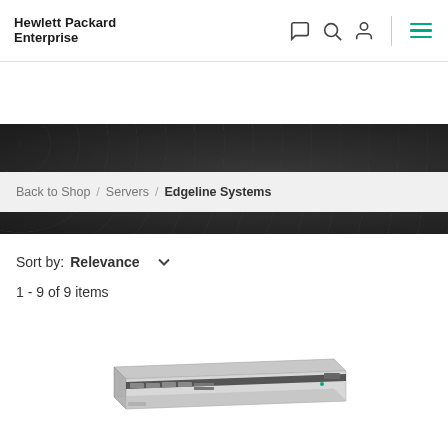Hewlett Packard Enterprise
EDGELINE SYSTEMS
Back to Shop / Servers / Edgeline Systems
Sort by: Relevance
1 - 9 of 9 items
[Figure (photo): HPE server (1U rack unit) product image shown at an angle, silver and black chassis]